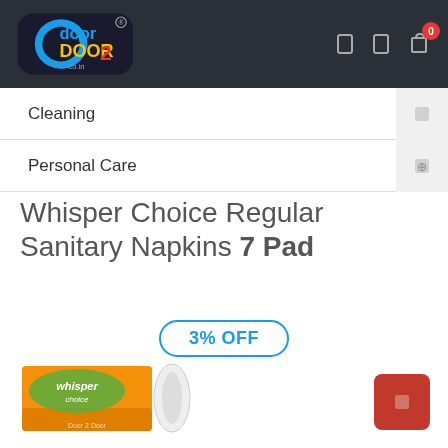[Figure (logo): Door2Door co.in logo on dark header background with shopping icons and cart badge showing 0]
Cleaning
Personal Care
Whisper Choice Regular Sanitary Napkins 7 Pad
3% OFF
[Figure (photo): Whisper Choice sanitary napkins orange product box with a pad shown next to it, Door 2 Door branding overlay]